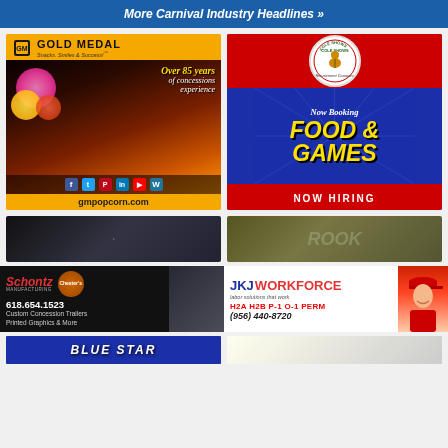More Carnival Industry Headlines »
[Figure (illustration): Gold Medal advertisement — logo, 'Snacks. Smiles & Success!', 'Over 85 years of concessions experience', carnival night photo with cotton candy and popcorn, social media icons, gmpopcorn.com]
[Figure (illustration): Cole Shows Amusement Company ad — Now Booking FOOD & GAMES, NOW HIRING, red/blue/yellow design with company logo]
[Figure (photo): Partial bottom-left ad with dark background]
[Figure (photo): Partial bottom-right ad]
[Figure (illustration): Schontz Manufacturing / Chester's ad — 618.654.1523, Custom Concession Trailers, Printed Graphics & More]
[Figure (illustration): JKJ Workforce ad — labor solutions that work — H2A H2B P-1 O-1 PERM — (956) 440-8720]
[Figure (photo): Partial blue star ad bottom left]
[Figure (photo): Partial ad bottom right]